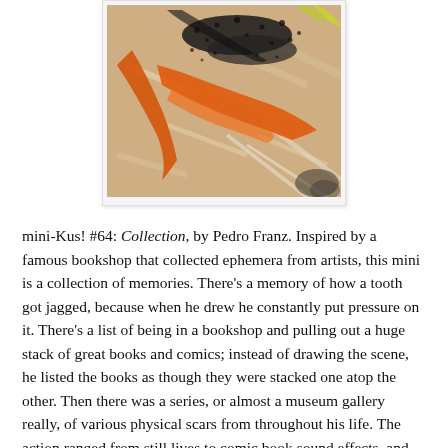[Figure (illustration): Abstract painting with orange brushstrokes, black scattered marks, and beige/tan textured background suggesting an expressive, gestural artwork.]
mini-Kus! #64: Collection, by Pedro Franz. Inspired by a famous bookshop that collected ephemera from artists, this mini is a collection of memories. There’s a memory of how a tooth got jagged, because when he drew he constantly put pressure on it. There’s a list of being in a bookshop and pulling out a huge stack of great books and comics; instead of drawing the scene, he listed the books as though they were stacked one atop the other. Then there was a series, or almost a museum gallery really, of various physical scars from throughout his life. The action ranged from still lives to comic book sound effects, and the clear through-line is not just a certain carelessness in life, but rather a refusal to listen to platitudes regarding danger that were yammered at